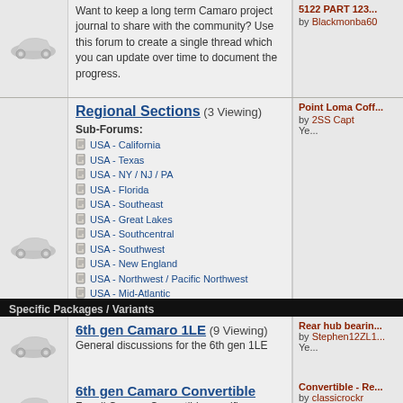Want to keep a long term Camaro project journal to share with the community? Use this forum to create a single thread which you can update over time to document the progress.
Regional Sections (3 Viewing)
USA - California
USA - Texas
USA - NY / NJ / PA
USA - Florida
USA - Southeast
USA - Great Lakes
USA - Southcentral
USA - Southwest
USA - New England
USA - Northwest / Pacific Northwest
USA - Mid-Atlantic
USA - Rockies / Midwest
CANADA
AUSTRALIA - Sponsored by STREETFIGHTER
International Regions
Specific Packages / Variants
6th gen Camaro 1LE (9 Viewing)
General discussions for the 6th gen 1LE
by Stephen12ZL1 Yesterday
6th gen Camaro Convertible
For all Camaro Convertible specific discussions
by classicrockr Yesterday
Engine | Drivetrain | Powertrain Technical Discussions